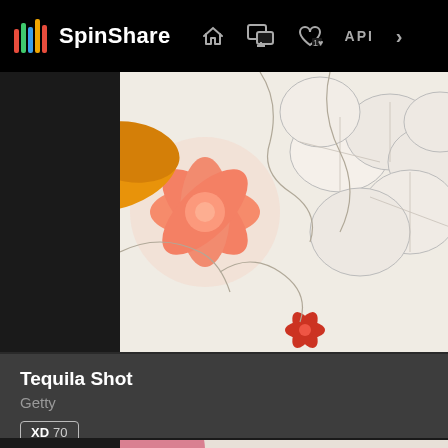SpinShare — navigation bar with logo, home, messages, likes, API icons
[Figure (illustration): Floral illustration with orange/red star-shaped flowers and white plumeria-like flowers on a cream background]
Tequila Shot
Getty
XD 70
[Figure (illustration): Partial view of a blue and white illustrated album cover with text 'QUIET MACHINE' and large decorative letters at bottom]